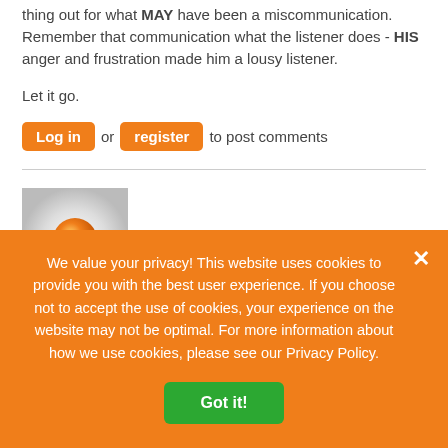thing out for what MAY have been a miscommunication. Remember that communication what the listener does - HIS anger and frustration made him a lousy listener.
Let it go.
Log in or register to post comments
[Figure (illustration): Orange generic user avatar icon on a light gray radial background]
We value your privacy! This website uses cookies to provide you with the best user experience. If you choose not to accept the use of cookies, your experience on the website may not be optimal. For more information about how we use cookies, please see our Privacy Policy.
Got it!